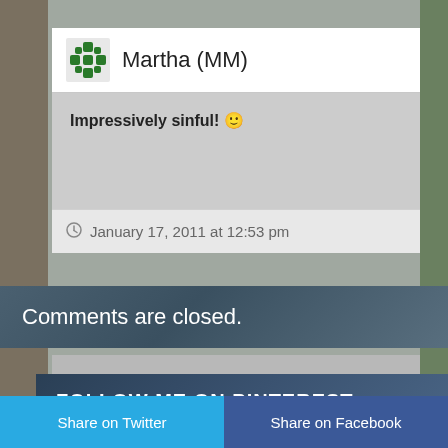Martha (MM)
Impressively sinful! 🙂
January 17, 2011 at 12:53 pm
Comments are closed.
FOLLOW ME ON PINTEREST
Share on Twitter
Share on Facebook